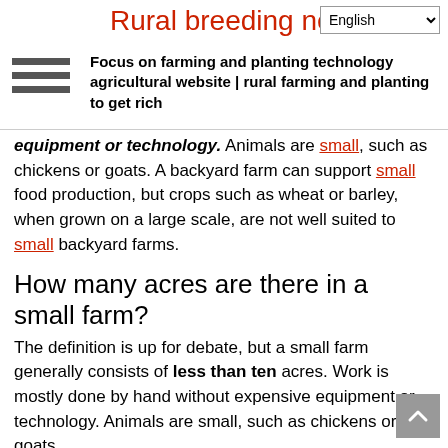Rural breeding net — Focus on farming and planting technology agricultural website | rural farming and planting to get rich
equipment or technology. Animals are small, such as chickens or goats. A backyard farm can support small food production, but crops such as wheat or barley, when grown on a large scale, are not well suited to small backyard farms.
How many acres are there in a small farm?
The definition is up for debate, but a small farm generally consists of less than ten acres. Work is mostly done by hand without expensive equipment or technology. Animals are small, such as chickens or goats.
Can you grow barley in a backyard?
A backyard farm can support small food production, but crops such as wheat or barley, when grown on a large scale, are not well suited to small backyard farms.